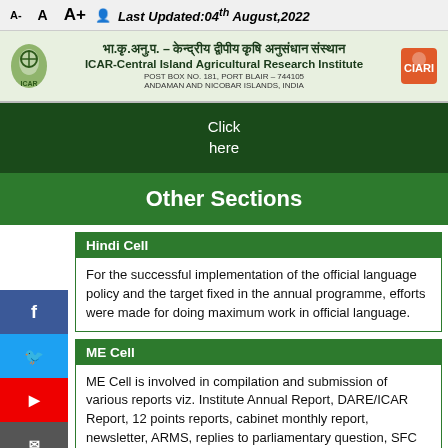A-  A  A+  Last Updated:04th August,2022
[Figure (logo): ICAR-CIARI header banner with institute logos, Hindi and English name, and address: POST BOX NO. 181, PORT BLAIR - 744105, ANDAMAN AND NICOBAR ISLANDS, INDIA]
Click here
Other Sections
Hindi Cell
For the successful implementation of the official language policy and the target fixed in the annual programme, efforts were made for doing maximum work in official language.
ME Cell
ME Cell is involved in compilation and submission of various reports viz. Institute Annual Report, DARE/ICAR Report, 12 points reports, cabinet monthly report, newsletter, ARMS, replies to parliamentary question, SFC of the institute, annual plan of the institute etc. Besides, the cell is also conducting Institute